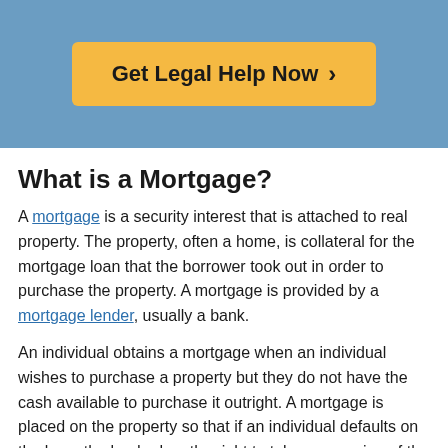[Figure (other): Blue banner header with an orange/yellow 'Get Legal Help Now >' call-to-action button]
What is a Mortgage?
A mortgage is a security interest that is attached to real property. The property, often a home, is collateral for the mortgage loan that the borrower took out in order to purchase the property. A mortgage is provided by a mortgage lender, usually a bank.
An individual obtains a mortgage when an individual wishes to purchase a property but they do not have the cash available to purchase it outright. A mortgage is placed on the property so that if an individual defaults on the loan, the lender has the right to take possession of the property.
A mortgage transaction includes two important documents, the promissory note and the mortgage also...